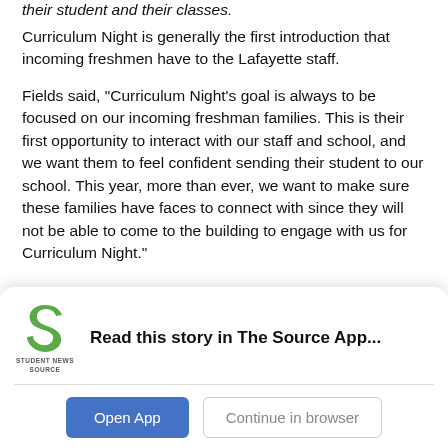Curriculum Night is generally the first introduction that incoming freshmen have to the Lafayette staff.
Fields said, “Curriculum Night’s goal is always to be focused on our incoming freshman families.  This is their first opportunity to interact with our staff and school, and we want them to feel confident sending their student to our school.  This year, more than ever, we want to make sure these families have faces to connect with since they will not be able to come to the building to engage with us for Curriculum Night.”
[Figure (logo): Student News Source logo - green stylized 'S' with text 'STUDENT NEWS SOURCE' below]
Read this story in The Source App...
Open App
Continue in browser